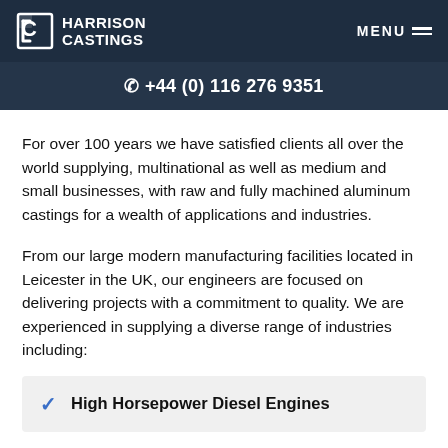HARRISON CASTINGS | MENU
+44 (0) 116 276 9351
For over 100 years we have satisfied clients all over the world supplying, multinational as well as medium and small businesses, with raw and fully machined aluminum castings for a wealth of applications and industries.
From our large modern manufacturing facilities located in Leicester in the UK, our engineers are focused on delivering projects with a commitment to quality. We are experienced in supplying a diverse range of industries including:
High Horsepower Diesel Engines